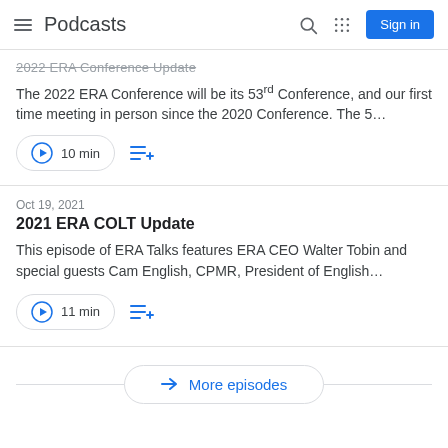Podcasts
The 2022 ERA Conference will be its 53rd Conference, and our first time meeting in person since the 2020 Conference. The 5…
10 min
Oct 19, 2021
2021 ERA COLT Update
This episode of ERA Talks features ERA CEO Walter Tobin and special guests Cam English, CPMR, President of English…
11 min
More episodes